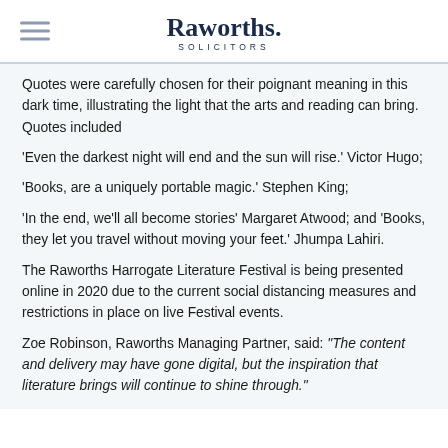Raworths. SOLICITORS
Quotes were carefully chosen for their poignant meaning in this dark time, illustrating the light that the arts and reading can bring. Quotes included
'Even the darkest night will end and the sun will rise.' Victor Hugo;
'Books, are a uniquely portable magic.' Stephen King;
'In the end, we'll all become stories' Margaret Atwood; and 'Books, they let you travel without moving your feet.' Jhumpa Lahiri.
The Raworths Harrogate Literature Festival is being presented online in 2020 due to the current social distancing measures and restrictions in place on live Festival events.
Zoe Robinson, Raworths Managing Partner, said: "The content and delivery may have gone digital, but the inspiration that literature brings will continue to shine through."